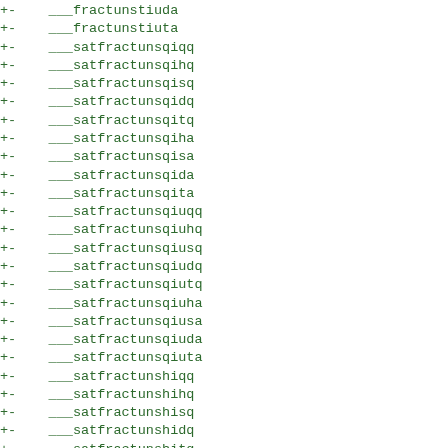+-    ___fractunstiuda
+-    ___fractunstiuta
+-    ___satfractunsqiqq
+-    ___satfractunsqihq
+-    ___satfractunsqisq
+-    ___satfractunsqidq
+-    ___satfractunsqitq
+-    ___satfractunsqiha
+-    ___satfractunsqisa
+-    ___satfractunsqida
+-    ___satfractunsqita
+-    ___satfractunsqiuqq
+-    ___satfractunsqiuhq
+-    ___satfractunsqiusq
+-    ___satfractunsqiudq
+-    ___satfractunsqiutq
+-    ___satfractunsqiuha
+-    ___satfractunsqiusa
+-    ___satfractunsqiuda
+-    ___satfractunsqiuta
+-    ___satfractunshiqq
+-    ___satfractunshihq
+-    ___satfractunshisq
+-    ___satfractunshidq
+-    ___satfractunshitq
+-    ___satfractunshiha
+-    ___satfractunshisa
+-    ___satfractunshida
+-    ___satfractunshita
+-    ___satfractunshiuqq